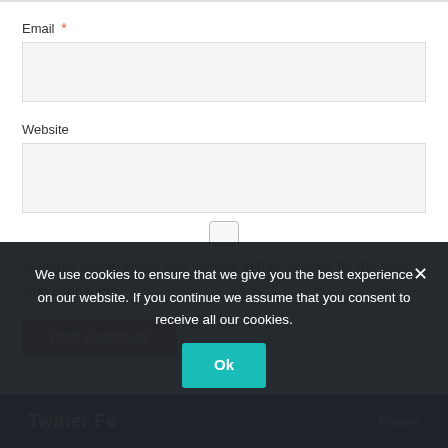Email *
Website
Save my name, email, and website in this browser for the next time I comment.
Post Comment
We use cookies to ensure that we give you the best experience on our website. If you continue we assume that you consent to receive all our cookies.
Ok
Twitter Fe...
Follow